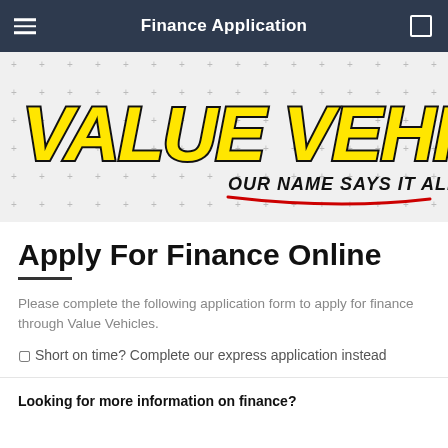Finance Application
[Figure (logo): Value Vehicles logo with yellow italic bold text and tagline 'OUR NAME SAYS IT ALL!' with red underline, on a dotted grid background]
Apply For Finance Online
Please complete the following application form to apply for finance through Value Vehicles.
⬜ Short on time? Complete our express application instead
Looking for more information on finance?